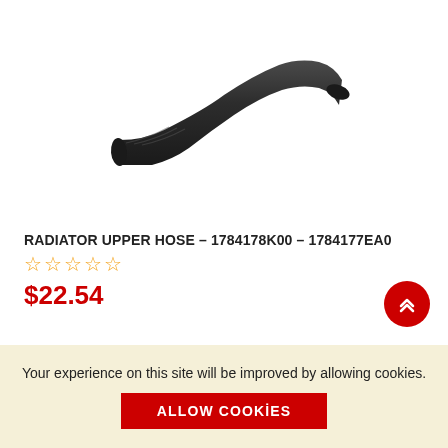[Figure (photo): Black rubber radiator upper hose with an elbow/curved shape, angled from lower-left to upper-right then curving down to the right, on a white background.]
RADIATOR UPPER HOSE - 1784178K00 - 1784177EA0
☆☆☆☆☆ (5 empty stars rating)
$22.54
Your experience on this site will be improved by allowing cookies.
ALLOW COOKIES